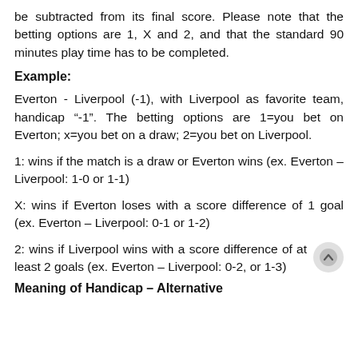be subtracted from its final score. Please note that the betting options are 1, X and 2, and that the standard 90 minutes play time has to be completed.
Example:
Everton - Liverpool (-1), with Liverpool as favorite team, handicap “-1”. The betting options are 1=you bet on Everton; x=you bet on a draw; 2=you bet on Liverpool.
1: wins if the match is a draw or Everton wins (ex. Everton – Liverpool: 1-0 or 1-1)
X: wins if Everton loses with a score difference of 1 goal (ex. Everton – Liverpool: 0-1 or 1-2)
2: wins if Liverpool wins with a score difference of at least 2 goals (ex. Everton – Liverpool: 0-2, or 1-3)
Meaning of Handicap – Alternative